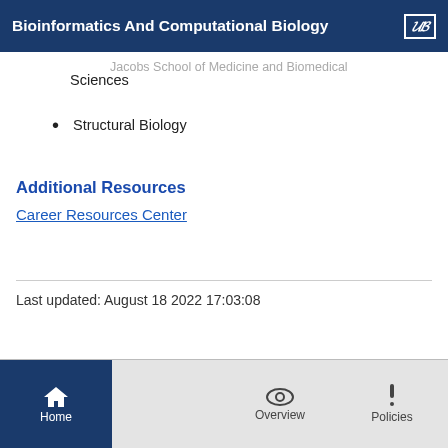Bioinformatics And Computational Biology
Jacobs School of Medicine and Biomedical Sciences
Structural Biology
Additional Resources
Career Resources Center
Last updated: August 18 2022 17:03:08
Home  Overview  Policies